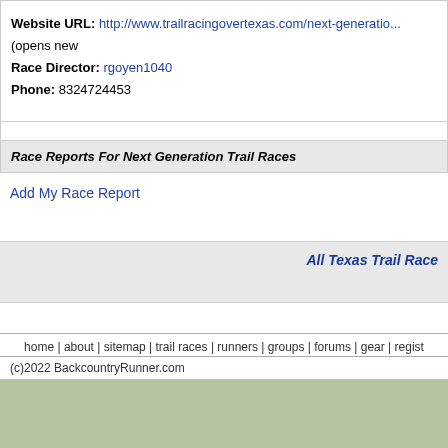Website URL: http://www.trailracingovertexas.com/next-generatio... (opens new
Race Director: rgoyen1040
Phone: 8324724453
Race Reports For Next Generation Trail Races
Add My Race Report
All Texas Trail Race
home | about | sitemap | trail races | runners | groups | forums | gear | regist
(c)2022 BackcountryRunner.com